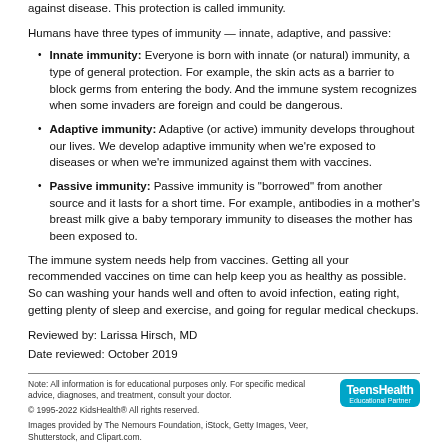against disease. This protection is called immunity.
Humans have three types of immunity — innate, adaptive, and passive:
Innate immunity: Everyone is born with innate (or natural) immunity, a type of general protection. For example, the skin acts as a barrier to block germs from entering the body. And the immune system recognizes when some invaders are foreign and could be dangerous.
Adaptive immunity: Adaptive (or active) immunity develops throughout our lives. We develop adaptive immunity when we're exposed to diseases or when we're immunized against them with vaccines.
Passive immunity: Passive immunity is "borrowed" from another source and it lasts for a short time. For example, antibodies in a mother's breast milk give a baby temporary immunity to diseases the mother has been exposed to.
The immune system needs help from vaccines. Getting all your recommended vaccines on time can help keep you as healthy as possible. So can washing your hands well and often to avoid infection, eating right, getting plenty of sleep and exercise, and going for regular medical checkups.
Reviewed by: Larissa Hirsch, MD
Date reviewed: October 2019
Note: All information is for educational purposes only. For specific medical advice, diagnoses, and treatment, consult your doctor.
© 1995-2022 KidsHealth® All rights reserved.
Images provided by The Nemours Foundation, iStock, Getty Images, Veer, Shutterstock, and Clipart.com.